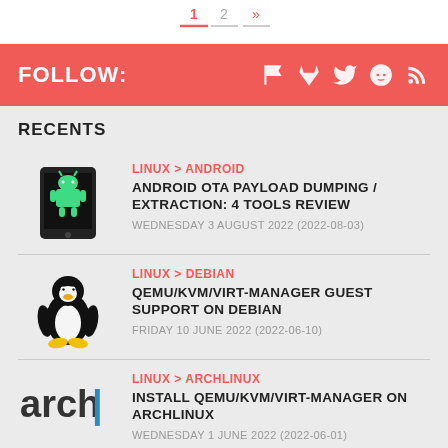[Figure (other): Pagination controls showing page 1 (active, red underline), page 2, and next arrow]
FOLLOW:
RECENTS
[Figure (illustration): Android phone with green Android robot icon on screen]
LINUX > ANDROID
ANDROID OTA PAYLOAD DUMPING / EXTRACTION: 4 TOOLS REVIEW
WEDNESDAY 3 AUGUST 2022 (2022-08-03)
[Figure (illustration): Linux Tux penguin mascot in black and white with yellow feet]
LINUX > DEBIAN
QEMU/KVM/VIRT-MANAGER GUEST SUPPORT ON DEBIAN
FRIDAY 10 JUNE 2022 (2022-06-10)
[Figure (logo): Arch Linux logo text 'arch|' in dark gray with blue pipe character]
LINUX > ARCHLINUX
INSTALL QEMU/KVM/VIRT-MANAGER ON ARCHLINUX
WEDNESDAY 1 JUNE 2022 (2022-06-01)